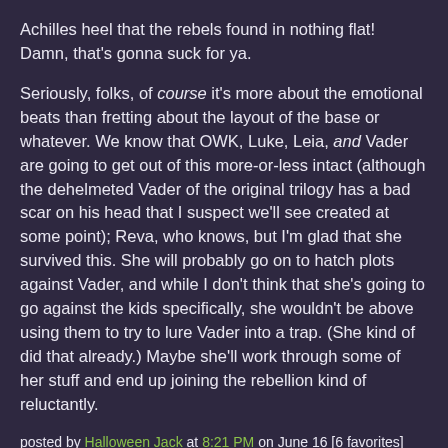Achilles heel that the rebels found in nothing flat! Damn, that's gonna suck for ya.
Seriously, folks, of course it's more about the emotional beats than fretting about the layout of the base or whatever. We know that OWK, Luke, Leia, and Vader are going to get out of this more-or-less intact (although the dehelmeted Vader of the original trilogy has a bad scar on his head that I suspect we'll see created at some point); Reva, who knows, but I'm glad that she survived this. She will probably go on to hatch plots against Vader, and while I don't think that she's going to go against the kids specifically, she wouldn't be above using them to try to lure Vader into a trap. (She kind of did that already.) Maybe she'll work through some of her stuff and end up joining the rebellion kind of reluctantly.
posted by Halloween Jack at 8:21 PM on June 16 [6 favorites]